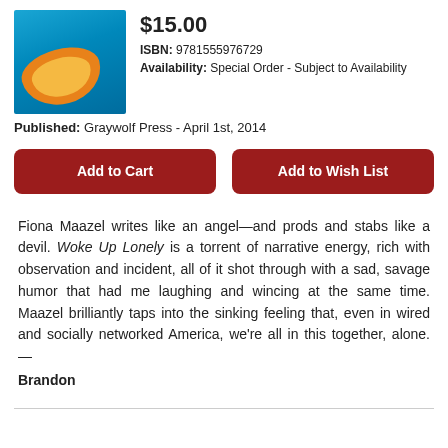[Figure (illustration): Book cover for Woke Up Lonely by Fiona Maazel with colorful abstract swirl design in orange, yellow, and teal]
$15.00
ISBN: 9781555976729
Availability: Special Order - Subject to Availability
Published: Graywolf Press - April 1st, 2014
Add to Cart
Add to Wish List
Fiona Maazel writes like an angel—and prods and stabs like a devil. Woke Up Lonely is a torrent of narrative energy, rich with observation and incident, all of it shot through with a sad, savage humor that had me laughing and wincing at the same time. Maazel brilliantly taps into the sinking feeling that, even in wired and socially networked America, we're all in this together, alone. — Brandon